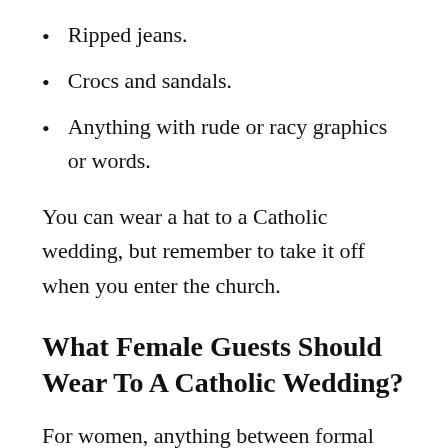Ripped jeans.
Crocs and sandals.
Anything with rude or racy graphics or words.
You can wear a hat to a Catholic wedding, but remember to take it off when you enter the church.
What Female Guests Should Wear To A Catholic Wedding?
For women, anything between formal and smart